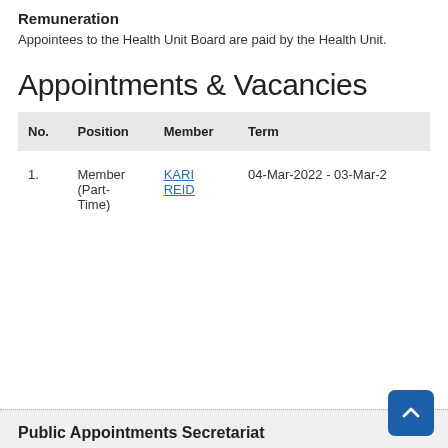Remuneration
Appointees to the Health Unit Board are paid by the Health Unit.
Appointments & Vacancies
| No. | Position | Member | Term |
| --- | --- | --- | --- |
| 1. | Member (Part-Time) | KARI REID | 04-Mar-2022 - 03-Mar-2 |
Public Appointments Secretariat